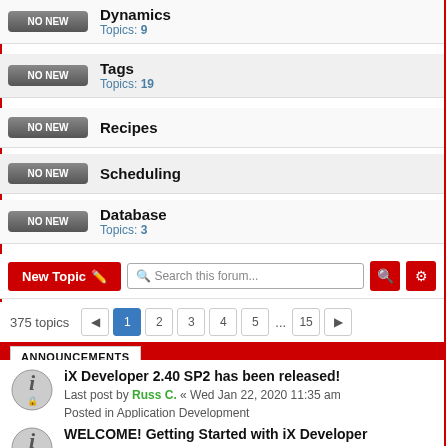Dynamics Topics: 9
Tags Topics: 19
Recipes
Scheduling
Database Topics: 3
New Topic | Search this forum... | 375 topics | 1 2 3 4 5 ... 15
ANNOUNCEMENTS
iX Developer 2.40 SP2 has been released!
Last post by Russ C. « Wed Jan 22, 2020 11:35 am
Posted in Application Development
Replies: 1
WELCOME! Getting Started with iX Developer
Last post by Russ C. « Wed Jan 22, 2020 11:35 am
Posted in Application Development
Replies: 1